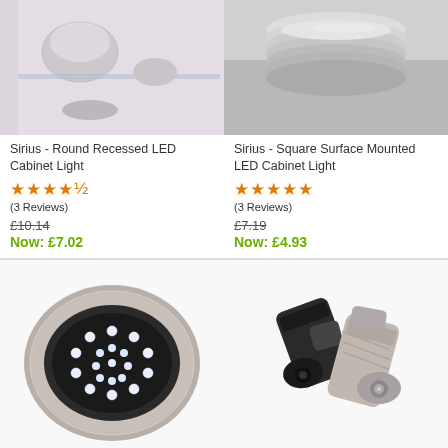[Figure (photo): Sirius Round Recessed LED Cabinet Light product photo showing glass shelf cabinet interior]
[Figure (photo): Sirius Square Surface Mounted LED Cabinet Light product photo showing stacked plates]
Sirius - Round Recessed LED Cabinet Light
★★★★☆ (3 Reviews) £10.14 Now: £7.02
Sirius - Square Surface Mounted LED Cabinet Light
★★★★★ (3 Reviews) £7.19 Now: £4.93
[Figure (photo): Round recessed LED downlight with brushed steel bezel showing multiple LED chips]
[Figure (photo): Two adjustable LED spotlight fixtures, one black and one silver/chrome]